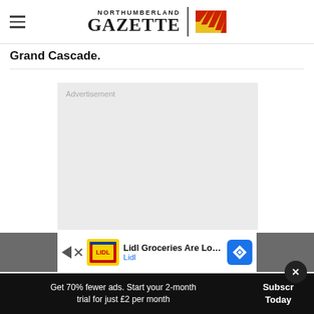Northumberland Gazette
Grand Cascade.
[Figure (other): Advertisement placeholder box with light grey background and 'Advertisement' label]
[Figure (other): Lidl Groceries Are Low-Priced — Lidl advertisement banner with Lidl logo and blue navigation diamond icon]
Get 70% fewer ads. Start your 2-month trial for just £2 per month
Subscribe Today